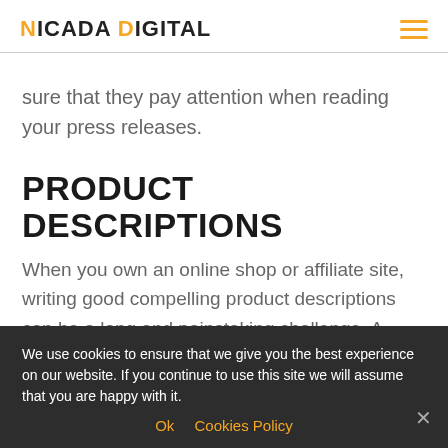NICADA DIGITAL
sure that they pay attention when reading your press releases.
PRODUCT DESCRIPTIONS
When you own an online shop or affiliate site, writing good compelling product descriptions can be a long and painstaking challenge. A good copywriter can help you with making sure that visitors are taken to will make shoppers buy.
Product FAQs – Every online retailer
We use cookies to ensure that we give you the best experience on our website. If you continue to use this site we will assume that you are happy with it.
Ok   Cookies Policy